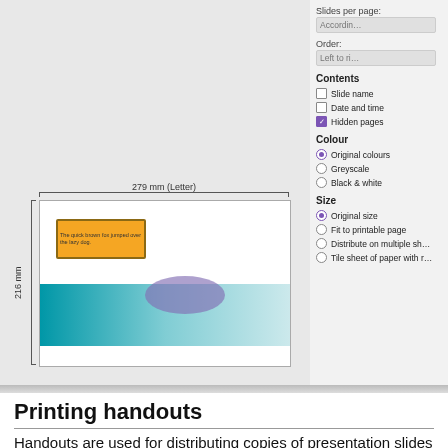[Figure (screenshot): Print dialog UI showing a slide preview with teal bar, purple ellipse, orange text box, dimension labels '279 mm (Letter)' and '216 mm', alongside settings panel with Contents, Colour, and Size options.]
Printing handouts
Handouts are used for distributing copies of presentation slides to each